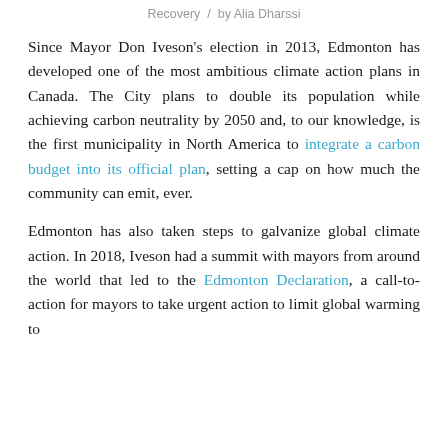Recovery  /  by Alia Dharssi
Since Mayor Don Iveson's election in 2013, Edmonton has developed one of the most ambitious climate action plans in Canada. The City plans to double its population while achieving carbon neutrality by 2050 and, to our knowledge, is the first municipality in North America to integrate a carbon budget into its official plan, setting a cap on how much the community can emit, ever.
Edmonton has also taken steps to galvanize global climate action. In 2018, Iveson had a summit with mayors from around the world that led to the Edmonton Declaration, a call-to-action for mayors to take urgent action to limit global warming to